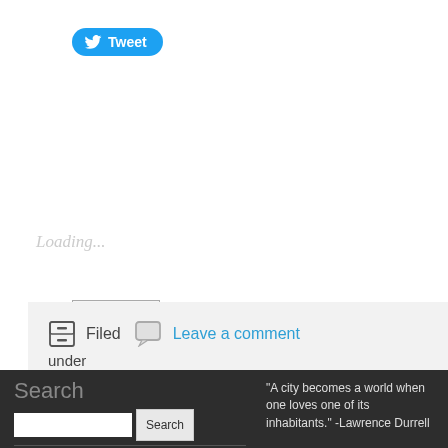[Figure (other): Twitter Tweet button (blue pill-shaped button with bird icon and 'Tweet' text)]
[Figure (other): Email button (grey outlined button with envelope icon and 'Email' text)]
[Figure (other): Print button (grey outlined button with printer icon and 'Print' text)]
Loading...
Filed   Leave a comment under New Orleans, Thailand, Travel Inspiration
Search
"A city becomes a world when one loves one of its inhabitants." -Lawrence Durrell
Zorba's Caravan · Medora's Travel Dance